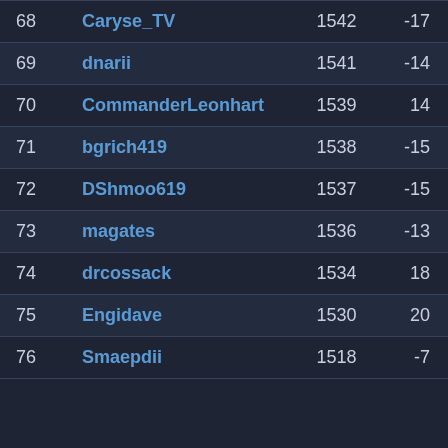| Rank | Name | Score | Delta |
| --- | --- | --- | --- |
| 68 | Caryse_TV | 1542 | -17 |
| 69 | dnarii | 1541 | -14 |
| 70 | CommanderLeonhart | 1539 | 14 |
| 71 | bgrich419 | 1538 | -15 |
| 72 | DShmoo619 | 1537 | -15 |
| 73 | magates | 1536 | -13 |
| 74 | drcossack | 1534 | 18 |
| 75 | Engidave | 1530 | 20 |
| 76 | Smaepdii | 1518 | -7 |